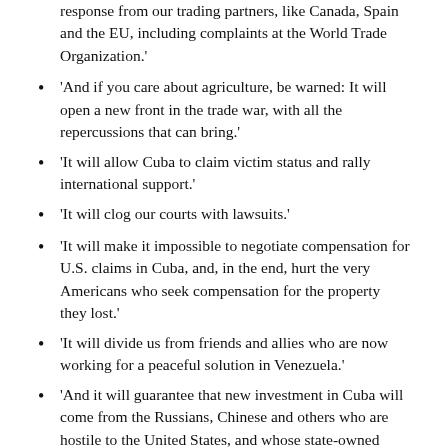response from our trading partners, like Canada, Spain and the EU, including complaints at the World Trade Organization.'
'And if you care about agriculture, be warned: It will open a new front in the trade war, with all the repercussions that can bring.'
'It will allow Cuba to claim victim status and rally international support.'
'It will clog our courts with lawsuits.'
'It will make it impossible to negotiate compensation for U.S. claims in Cuba, and, in the end, hurt the very Americans who seek compensation for the property they lost.'
'It will divide us from friends and allies who are now working for a peaceful solution in Venezuela.'
'And it will guarantee that new investment in Cuba will come from the Russians, Chinese and others who are hostile to the United States, and whose state-owned companies can't be sued in U.S. courts.'